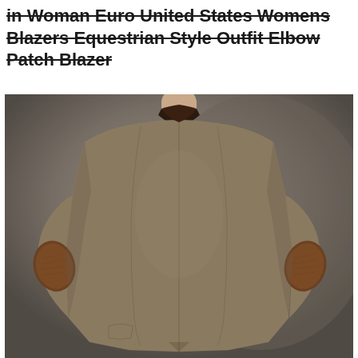in Woman Euro United States Womens Blazers Equestrian Style Outfit Elbow Patch Blazer
[Figure (photo): Back view of a woman wearing a fitted brown/tan tweed equestrian style blazer with dark brown suede elbow patches and a dark velvet collar, photographed against a grey gradient background.]